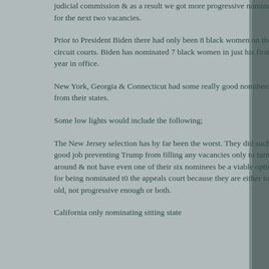judicial commission & as a result we got more progressive nominees for the next two vacancies.
Prior to President Biden there had only been 8 black women on the circuit courts. Biden has nominated 7 black women in just his first year in office.
New York, Georgia & Connecticut had some really good nominees from their states.
Some low lights would include the following;
The New Jersey selection has by far been the worst. They did such a good job preventing Trump from filling any vacancies only to turn around & not have even one of their six nominees be a viable option for being nominated t0 the appeals court because they are either too old, not progressive enough or both.
California only nominating sitting state